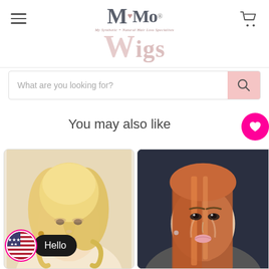[Figure (logo): MiMo Wigs logo with large stylized M, heart, Mo text, tagline 'My Synthetic + Natural Hair Loss Specialists', and large pink Wigs text below]
What are you looking for?
You may also like
[Figure (photo): Woman wearing blonde curly wig, product photo]
[Figure (photo): Woman wearing auburn/red straight wig, product photo]
[Figure (other): US flag circle icon with Hello badge]